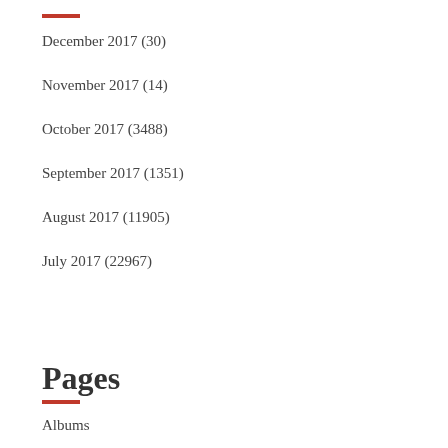December 2017 (30)
November 2017 (14)
October 2017 (3488)
September 2017 (1351)
August 2017 (11905)
July 2017 (22967)
Pages
Albums